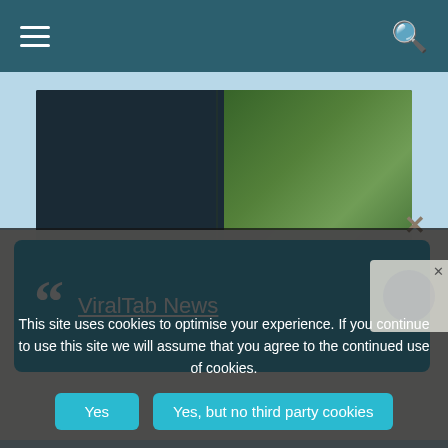Navigation bar with hamburger menu and search icon
[Figure (photo): Top hero image showing dark underwater or nature scene with dark teal and green tones, split into two panels]
[Figure (screenshot): Quote popup modal with blue quote box containing large quotation mark and link text 'ViralTab News', with close X button]
ViralTab News
[Figure (photo): Bottom hero image showing dark nature scene]
This site uses cookies to optimise your experience. If you continue to use this site we will assume that you agree to the continued use of cookies.